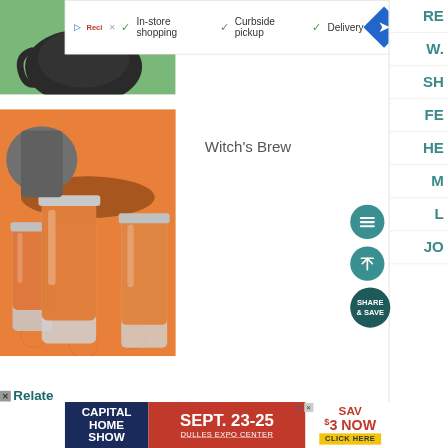[Figure (screenshot): Web page screenshot showing a recipe site. Top area has an ad banner with checkmarks for In-store shopping, Curbside pickup, Delivery. Below is a photo of a teapot/decorative item, then a photo of mason jars filled with orange liquid (Witch's Brew). Right sidebar has partial navigation items. Floating buttons for menu, scroll-to-top, and Share & Save. Bottom has a Capital Home Show ad: SEPT. 23-25, Dulles Expo Center, SAVE $3 NOW CLICK HERE.]
In-store shopping  Curbside pickup  Delivery
Witch's Brew
Related
CAPITAL HOME SHOW  SEPT. 23-25  DULLES EXPO CENTER  SAVE $3 NOW  CLICK HERE